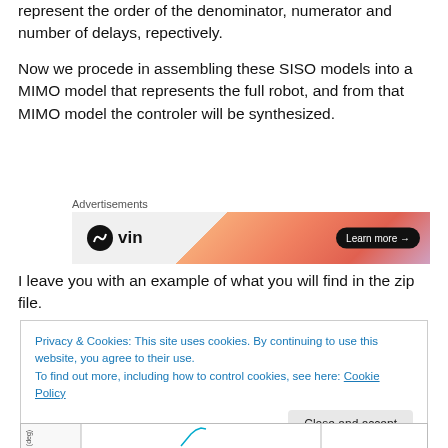represent the order of the denominator, numerator and number of delays, repectively.
Now we procede in assembling these SISO models into a MIMO model that represents the full robot, and from that MIMO model the controler will be synthesized.
[Figure (other): Advertisement banner with 'Advertisements' label above, showing 'mvin' logo on left and gradient orange/pink background with 'Learn more →' button on right]
I leave you with an example of what you will find in the zip file.
Privacy & Cookies: This site uses cookies. By continuing to use this website, you agree to their use.
To find out more, including how to control cookies, see here: Cookie Policy
[Close and accept button]
[Figure (continuous-plot): Partial chart visible at bottom of page showing axes with a curve]